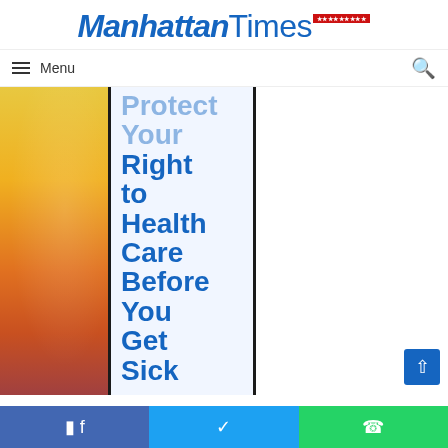[Figure (logo): Manhattan Times newspaper logo with bold italic 'Manhattan' and regular 'Times' in blue, with a small red flag/banner accent]
≡ Menu
[Figure (illustration): Newspaper advertisement image showing a colorful illustration on the left and bold blue text reading 'Protect Your Right to Health Care Before You Get Sick' with phone number '1-646-NYC-CARE' on a light blue background with black vertical borders]
[Figure (other): Social share bar with Facebook, Twitter, and WhatsApp buttons]